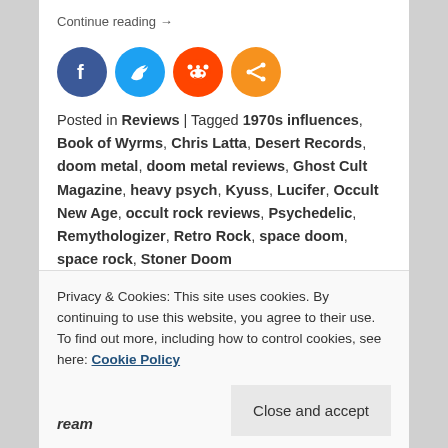Continue reading →
[Figure (other): Social media share icons: Facebook (blue), Twitter (light blue), Reddit (orange-red), Share (orange)]
Posted in Reviews | Tagged 1970s influences, Book of Wyrms, Chris Latta, Desert Records, doom metal, doom metal reviews, Ghost Cult Magazine, heavy psych, Kyuss, Lucifer, Occult New Age, occult rock reviews, Psychedelic, Remythologizer, Retro Rock, space doom, space rock, Stoner Doom
EXCLUSIVE VIDEO
Privacy & Cookies: This site uses cookies. By continuing to use this website, you agree to their use.
To find out more, including how to control cookies, see here: Cookie Policy
Team